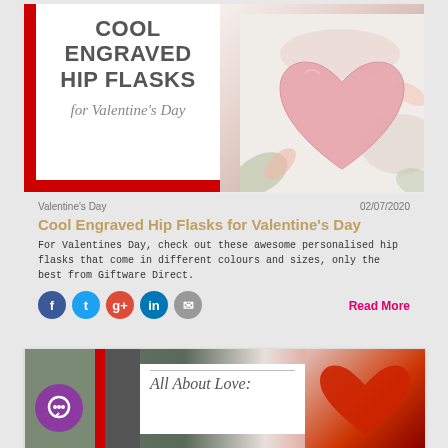[Figure (photo): Blog card image showing text overlay 'COOL ENGRAVED HIP FLASKS for Valentine's Day' on white box with red L-border, and a pink heart on floral background]
Valentine's Day    02/07/2020
Cool Engraved Hip Flasks for Valentine's Day
For Valentines Day, check out these awesome personalised hip flasks that come in different colours and sizes, only the best from Giftware Direct.
Read More
[Figure (photo): Second blog card image partially visible, showing red L-border, white text box with 'All About Love:' in italic script, chat bubble icon, and red heart pillow on right]